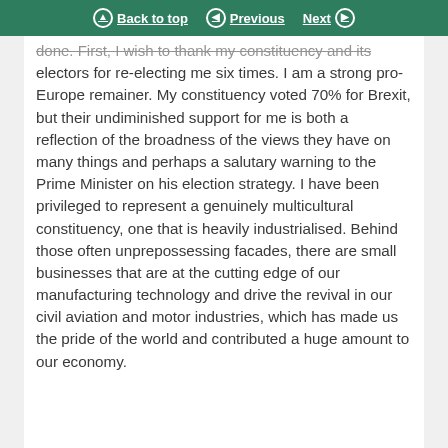Back to top | Previous | Next
done. First, I wish to thank my constituency and its electors for re-electing me six times. I am a strong pro-Europe remainer. My constituency voted 70% for Brexit, but their undiminished support for me is both a reflection of the broadness of the views they have on many things and perhaps a salutary warning to the Prime Minister on his election strategy. I have been privileged to represent a genuinely multicultural constituency, one that is heavily industrialised. Behind those often unprepossessing facades, there are small businesses that are at the cutting edge of our manufacturing technology and drive the revival in our civil aviation and motor industries, which has made us the pride of the world and contributed a huge amount to our economy.